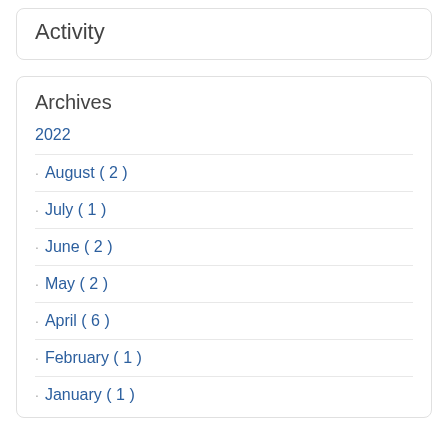Activity
Archives
2022
August ( 2 )
July ( 1 )
June ( 2 )
May ( 2 )
April ( 6 )
February ( 1 )
January ( 1 )